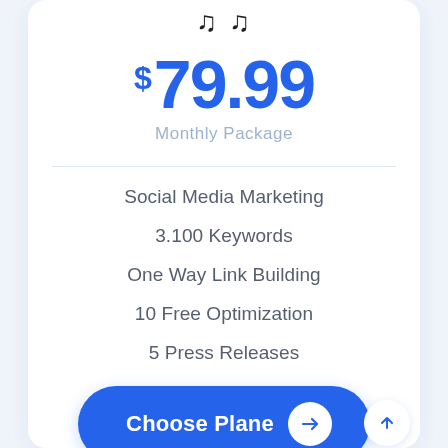$ 79.99
Monthly Package
Social Media Marketing
3.100 Keywords
One Way Link Building
10 Free Optimization
5 Press Releases
Choose Plane